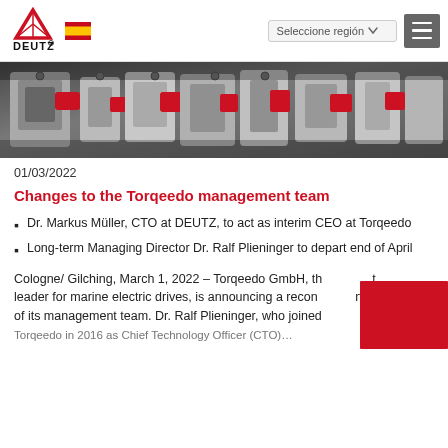[Figure (logo): DEUTZ company logo with red mountain/triangle symbol and DEUTZ text, plus Spanish flag emoji]
[Figure (photo): Industrial engine components photo showing red and silver DEUTZ engines/machinery in a workshop setting]
01/03/2022
Changes to the Torqeedo management team
Dr. Markus Müller, CTO at DEUTZ, to act as interim CEO at Torqeedo
Long-term Managing Director Dr. Ralf Plieninger to depart end of April
Cologne/ Gilching, March 1, 2022 – Torqeedo GmbH, th[...] leader for marine electric drives, is announcing a recon[...] of its management team. Dr. Ralf Plieninger, who joined Torqeedo in 2016 as Chief Technology Officer (CTO)...